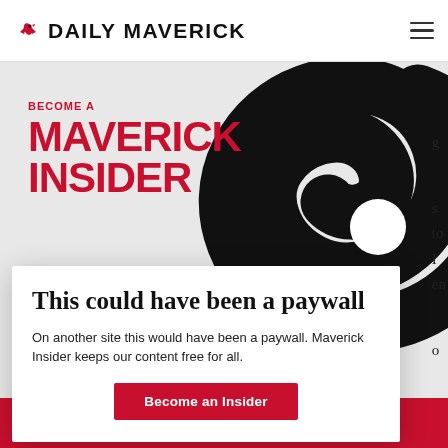DAILY MAVERICK
[Figure (illustration): Daily Maverick Maverick Insider promotional banner with large red text 'BECOME A MAVERICK INSIDER' and a large black swirl/spiral graphic on a light gray background]
This could have been a paywall
On another site this would have been a paywall. Maverick Insider keeps our content free for all.
Become an Insider
Use DM as the code for free entry